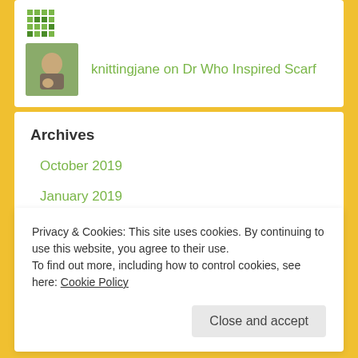[Figure (logo): Green pixelated/knitting logo icon]
knittingjane on Dr Who Inspired Scarf
Archives
October 2019
January 2019
Privacy & Cookies: This site uses cookies. By continuing to use this website, you agree to their use.
To find out more, including how to control cookies, see here: Cookie Policy
Close and accept